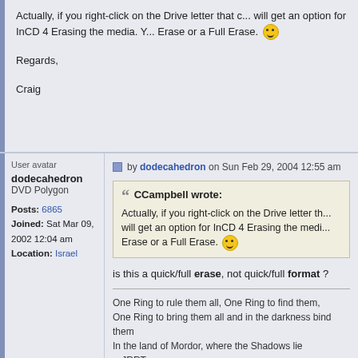Actually, if you right-click on the Drive letter that c... will get an option for InCD 4 Erasing the media. Y... Erase or a Full Erase. [smiley]

Regards,

Craig
by dodecahedron on Sun Feb 29, 2004 12:55 am
[Figure (screenshot): User avatar placeholder image for dodecahedron]
dodecahedron
DVD Polygon
Posts: 6865
Joined: Sat Mar 09, 2002 12:04 am
Location: Israel
CCampbell wrote:
Actually, if you right-click on the Drive letter th... will get an option for InCD 4 Erasing the medi... Erase or a Full Erase. [smiley]
is this a quick/full erase, not quick/full format ?
One Ring to rule them all, One Ring to find them,
One Ring to bring them all and in the darkness bind them
In the land of Mordor, where the Shadows lie
-- JRRT
M.C. Escher - Reptilien